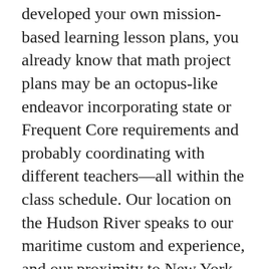technology    When you've developed your own mission-based learning lesson plans, you already know that math project plans may be an octopus-like endeavor incorporating state or Frequent Core requirements and probably coordinating with different teachers—all within the class schedule. Our location on the Hudson River speaks to our maritime custom and experience, and our proximity to New York Metropolis offers a gateway to career and entrepreneurial alternatives in commerce, finance, media, art, trend, analysis, technology, training and leisure. We're seeing an increasing number of of 3D technology in our everyday lives, however it's taking some time to turn into mainstream. In my class, I do enable TedTalks as sources if the scholar is utilizing other sources as nicely. Every little thing good has to have a nasty aspect to it. The cons of technology are the edges that no one really thinks about till it personally affects them in a adverse manner. I'm within the process of writing extra articles and establishing my web site so can't